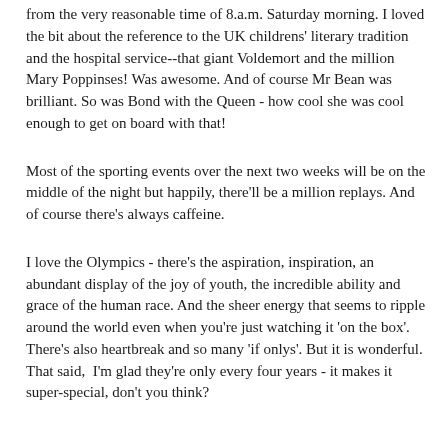from the very reasonable time of 8.a.m. Saturday morning. I loved the bit about the reference to the UK childrens' literary tradition and the hospital service--that giant Voldemort and the million Mary Poppinses! Was awesome. And of course Mr Bean was brilliant. So was Bond with the Queen - how cool she was cool enough to get on board with that!
Most of the sporting events over the next two weeks will be on the middle of the night but happily, there'll be a million replays. And of course there's always caffeine.
I love the Olympics - there's the aspiration, inspiration, an abundant display of the joy of youth, the incredible ability and grace of the human race. And the sheer energy that seems to ripple around the world even when you're just watching it 'on the box'. There's also heartbreak and so many 'if onlys'. But it is wonderful. That said,  I'm glad they're only every four years - it makes it super-special, don't you think?